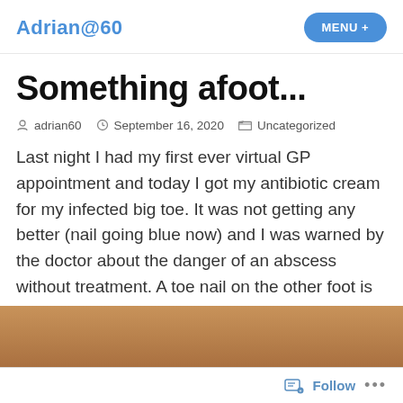Adrian@60  MENU +
Something afoot...
adrian60   September 16, 2020   Uncategorized
Last night I had my first ever virtual GP appointment and today I got my antibiotic cream for my infected big toe. It was not getting any better (nail going blue now) and I was warned by the doctor about the danger of an abscess without treatment. A toe nail on the other foot is falling off too!
[Figure (photo): Partial photo strip showing a brownish/tan surface, cropped at bottom of page]
Follow  ...